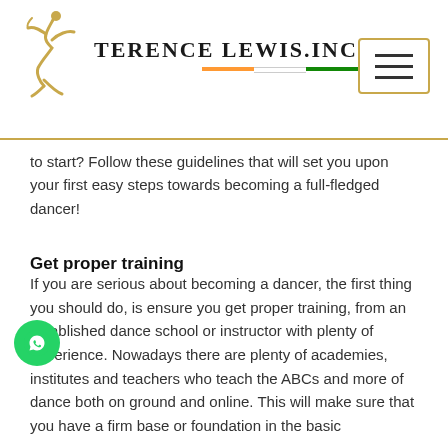Terence Lewis.inc
to start? Follow these guidelines that will set you upon your first easy steps towards becoming a full-fledged dancer!
Get proper training
If you are serious about becoming a dancer, the first thing you should do, is ensure you get proper training, from an established dance school or instructor with plenty of experience. Nowadays there are plenty of academies, institutes and teachers who teach the ABCs and more of dance both on ground and online. This will make sure that you have a firm base or foundation in the basic